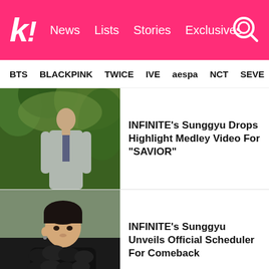k! News Lists Stories Exclusives
BTS  BLACKPINK  TWICE  IVE  aespa  NCT  SEVE
[Figure (photo): Man in light grey suit standing outdoors with tropical foliage background]
INFINITE's Sunggyu Drops Highlight Medley Video For “SAVIOR”
[Figure (photo): Young man with dark hair wearing black fluffy jacket, looking directly at camera]
INFINITE’s Sunggyu Unveils Official Scheduler For Comeback
ADVERTISEMENT
ADVERTISEMENT
[Figure (photo): Man in formal attire against white/cream background]
INFINITE’s Dongwoo Sends Heartfelt Message To Group Members For Their Support